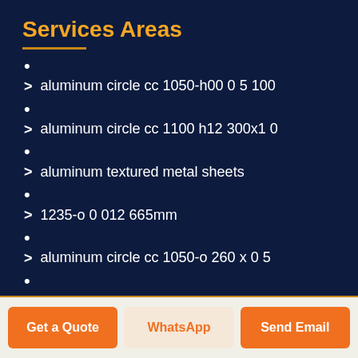Services Areas
•
> aluminum circle cc 1050-h00 0 5 100
•
> aluminum circle cc 1100 h12 300x1 0
•
> aluminum textured metal sheets
•
> 1235-o 0 012 665mm
•
> aluminum circle cc 1050-o 260 x 0 5
•
Get a Quote | WhatsApp | Send Email